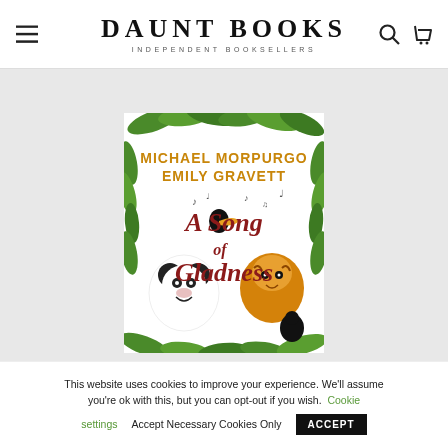DAUNT BOOKS — INDEPENDENT BOOKSELLERS
[Figure (illustration): Book cover of 'A Song of Gladness' by Michael Morpurgo and Emily Gravett, featuring a panda, tiger, and toucan surrounded by tropical leaves, with the title in red cursive and authors' names in gold text.]
This website uses cookies to improve your experience. We'll assume you're ok with this, but you can opt-out if you wish. Cookie settings   Accept Necessary Cookies Only   ACCEPT